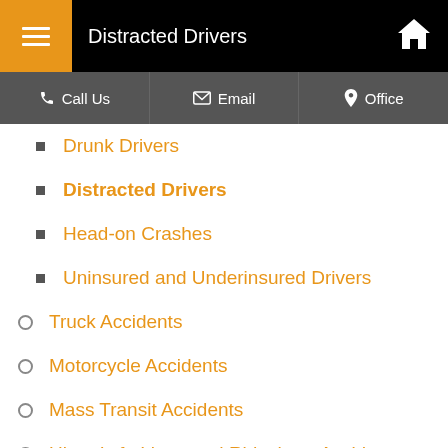Distracted Drivers
Drunk Drivers
Distracted Drivers
Head-on Crashes
Uninsured and Underinsured Drivers
Truck Accidents
Motorcycle Accidents
Mass Transit Accidents
Uber, Lyft, Limo, and Rideshare Accidents
Pedestrian Accidents
Bicycle Accidents
Recreational Vehicle Accidents